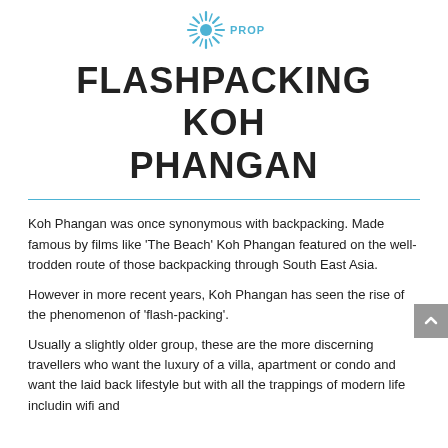[Figure (logo): Sunburst/starburst logo icon in blue with the word PROPERTY in blue text to the right]
FLASHPACKING KOH PHANGAN
Koh Phangan was once synonymous with backpacking. Made famous by films like 'The Beach' Koh Phangan featured on the well-trodden route of those backpacking through South East Asia.
However in more recent years, Koh Phangan has seen the rise of the phenomenon of 'flash-packing'.
Usually a slightly older group, these are the more discerning travellers who want the luxury of a villa, apartment or condo and want the laid back lifestyle but with all the trappings of modern life includin wifi and